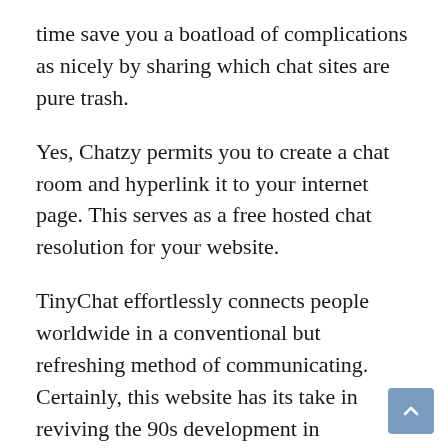time save you a boatload of complications as nicely by sharing which chat sites are pure trash.
Yes, Chatzy permits you to create a chat room and hyperlink it to your internet page. This serves as a free hosted chat resolution for your website.
TinyChat effortlessly connects people worldwide in a conventional but refreshing method of communicating. Certainly, this website has its take in reviving the 90s development in interaction and incorporate it in modern ways by way of video and chat rooms. There are individuals from a number chatzt of other nations such because the UK, India, Canada, France, Germany, Sweden, and the Netherlands, but most of them are American. I was not stunned that most people have been on the younger facet as a end result of it’s a fashionable chat website.